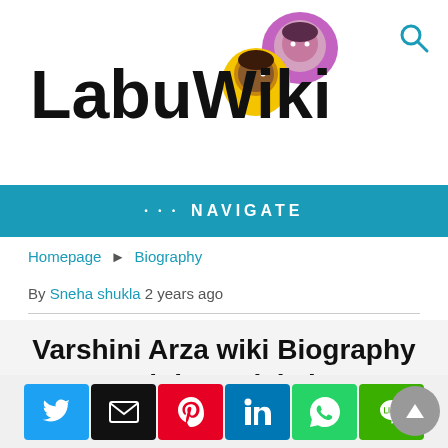LabuWiki
••• NAVIGATE
Homepage ▶ Biography
By Sneha shukla 2 years ago
Varshini Arza wiki Biography DOB Height Serials images
[Figure (photo): Partial view of a photo at the bottom of the article]
[Figure (infographic): Social share buttons: Twitter, Email, Pinterest, LinkedIn, WhatsApp, LINE]